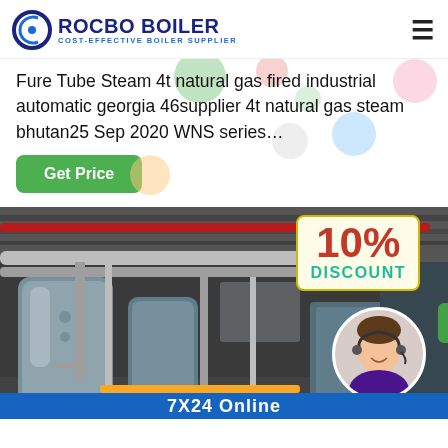[Figure (logo): Rocbo Boiler logo with circular C icon and text 'ROCBO BOILER - COST-EFFECTIVE BOILER SUPPLIER']
Fure Tube Steam 4t natural gas fired industrial automatic georgia 46supplier 4t natural gas steam bhutan25 Sep 2020 WNS series…
[Figure (other): Green 'Get Price' button]
[Figure (photo): Industrial boiler room interior with large cylindrical boilers, pipes and equipment. Overlay shows a '10% DISCOUNT' badge in red and teal text on cream background, and a customer service agent in a circular inset. Bottom bar reads '7X24 Online'.]